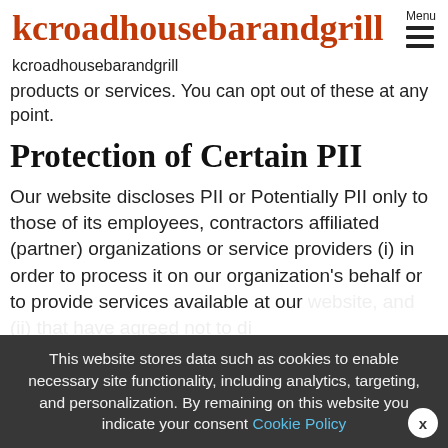kcroadhousebarandgrill
kcroadhousebarandgrill
products or services. You can opt out of these at any point.
Protection of Certain PII
Our website discloses PII or Potentially PII only to those of its employees, contractors affiliated (partner) organizations or service providers (i) in order to process it on our organization's behalf or to provide services available at our website, and (ii) that have agreed not to disclose it to others. In addition, to the recipients as described above we
This website stores data such as cookies to enable necessary site functionality, including analytics, targeting, and personalization. By remaining on this website you indicate your consent Cookie Policy